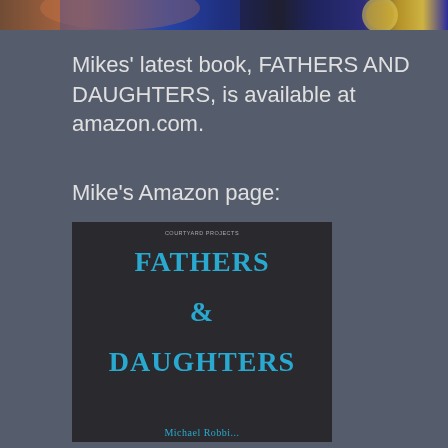[Figure (photo): Partial photo strip at the very top of the page showing a person in a blue garment and a circular light element on a dark background]
Mikes' latest book, FATHERS AND DAUGHTERS, is available at amazon.com.
Mike's Amazon page:
[Figure (photo): Book cover of FATHERS & DAUGHTERS by Michael Robbins (or similar author). Dark background with cyan/blue bold serif title text reading FATHERS & DAUGHTERS in three lines, small publisher text at top, and partial author name at bottom.]